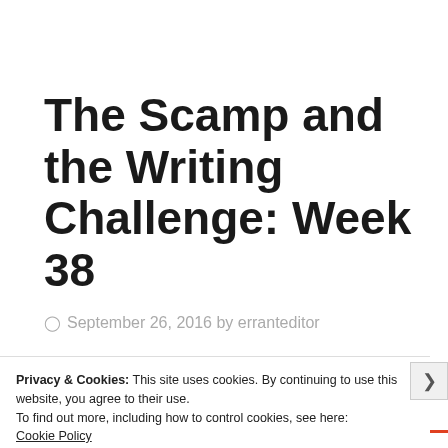The Scamp and the Writing Challenge: Week 38
September 26, 2016 by erranteditor
Privacy & Cookies: This site uses cookies. By continuing to use this website, you agree to their use.
To find out more, including how to control cookies, see here: Cookie Policy
Close and accept